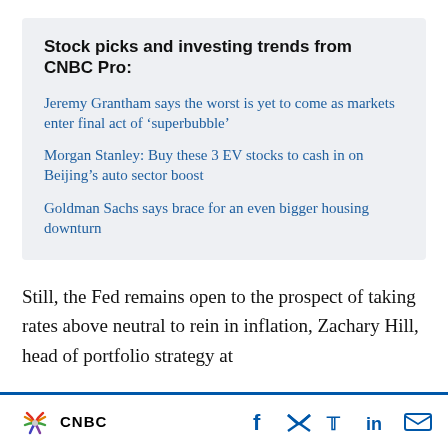Stock picks and investing trends from CNBC Pro:
Jeremy Grantham says the worst is yet to come as markets enter final act of ‘superbubble’
Morgan Stanley: Buy these 3 EV stocks to cash in on Beijing’s auto sector boost
Goldman Sachs says brace for an even bigger housing downturn
Still, the Fed remains open to the prospect of taking rates above neutral to rein in inflation, Zachary Hill, head of portfolio strategy at
CNBC [logo] | f [Facebook] [Twitter] in [LinkedIn] [Email]